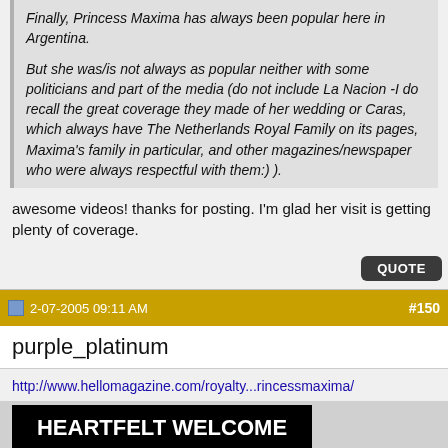Finally, Princess Maxima has always been popular here in Argentina.

But she was/is not always as popular neither with some politicians and part of the media (do not include La Nacion -I do recall the great coverage they made of her wedding or Caras, which always have The Netherlands Royal Family on its pages, Maxima's family in particular, and other magazines/newspaper who were always respectful with them:) ).
awesome videos! thanks for posting. I'm glad her visit is getting plenty of coverage.
QUOTE
2-07-2005 09:11 AM   #150
purple_platinum
http://www.hellomagazine.com/royalty...rincessmaxima/
[Figure (other): Black banner image with bold white uppercase text reading: HEARTFELT WELCOME FOR MAXIMA IN HER ARGENTINE HOMELAND]